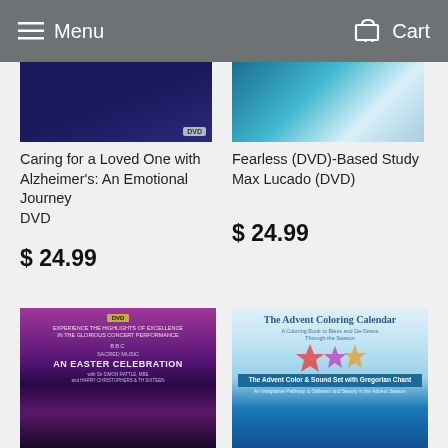Menu   Cart
[Figure (photo): DVD product image with dark blue background for Caring for a Loved One with Alzheimer's]
Caring for a Loved One with Alzheimer's: An Emotional Journey
DVD
$ 24.99
[Figure (photo): DVD product image with light blue/white background for Fearless DVD-Based Study]
Fearless (DVD)-Based Study Max Lucado (DVD)
$ 24.99
[Figure (photo): BBC Sacred Music - An Easter Celebration DVD cover with purple/pink concert hall imagery]
[Figure (photo): The Advent Coloring Calendar book cover with colorful star/leaf design and blue lower section]